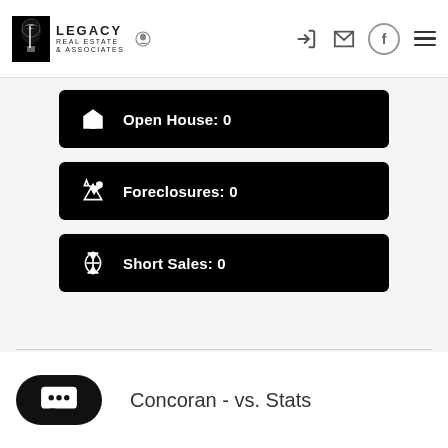[Figure (logo): Legacy Real Estate & Associates logo with tree graphic and small mascot icon]
Open House: 0
Foreclosures: 0
Short Sales: 0
Concoran - vs. Stats